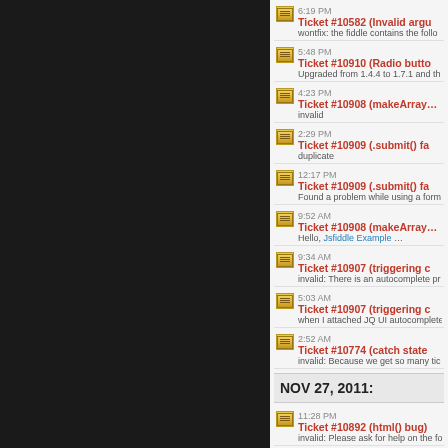[Figure (screenshot): Dark left panel of a web application]
6:19 PM Ticket #10582 (Invalid argu... wontfix: the fiddle contains the follo...
5:48 PM Ticket #10910 (Radio butto... Upgraded from 1.4.4 to 1.7.1 and th...
4:23 PM Ticket #10908 (makeArray... invalid
2:29 PM Ticket #10909 (.submit() fa... duplicate
12:17 PM Ticket #10909 (.submit() fa... Found a problem while using a form...
9:52 AM Ticket #10908 (makeArray... Hello, Jsfiddle Example ...
9:34 AM Ticket #10907 (triggering c... invalid: There is an autocomplete pr...
5:03 AM Ticket #10907 (triggering c... when I attached JQ UI autocomplete...
2:52 AM Ticket #10774 (catch state... invalid: Because we get so many tic...
NOV 27, 2011:
11:28 PM Ticket #10892 (html() bug... invalid: Please ask for help on the fo...
9:34 PM Ticket #10117 ([chrome] ou... duplicate
9:34 PM Ticket #10117 ([chrome] ou... mikesherov